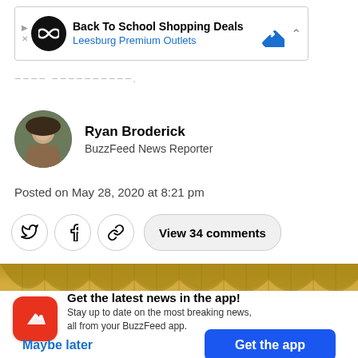[Figure (screenshot): Advertisement banner for Back To School Shopping Deals at Leesburg Premium Outlets with logo and navigation arrow icon]
Share this article...
Ryan Broderick
BuzzFeed News Reporter
Posted on May 28, 2020 at 8:21 pm
[Figure (screenshot): Social sharing buttons: Twitter, Facebook, link, and View 34 comments button]
[Figure (photo): Gold stage curtains photo]
Get the latest news in the app!
Stay up to date on the most breaking news, all from your BuzzFeed app.
Maybe later
Get the app